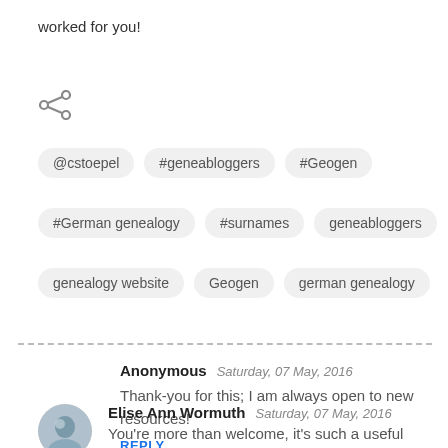worked for you!
[Figure (other): Share icon (social sharing button)]
@cstoepel
#geneabloggers
#Geogen
#German genealogy
#surnames
geneabloggers
genealogy website
Geogen
german genealogy
Anonymous  Saturday, 07 May, 2016
Thank-you for this; I am always open to new resources!
REPLY
Elise Ann Wormuth  Saturday, 07 May, 2016
You're more than welcome, it's such a useful